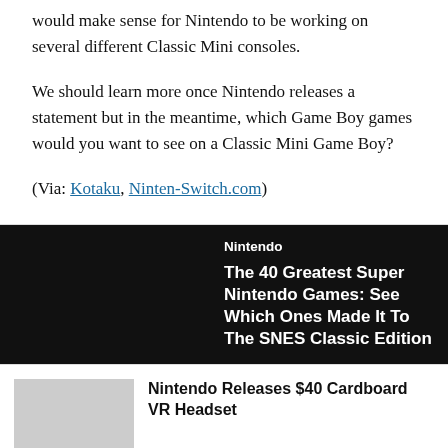would make sense for Nintendo to be working on several different Classic Mini consoles.
We should learn more once Nintendo releases a statement but in the meantime, which Game Boy games would you want to see on a Classic Mini Game Boy?
(Via: Kotaku, Ninten-Switch.com)
Nintendo
The 40 Greatest Super Nintendo Games: See Which Ones Made It To The SNES Classic Edition
Nintendo Releases $40 Cardboard VR Headset
Diablo 3 Coming To The Nintendo